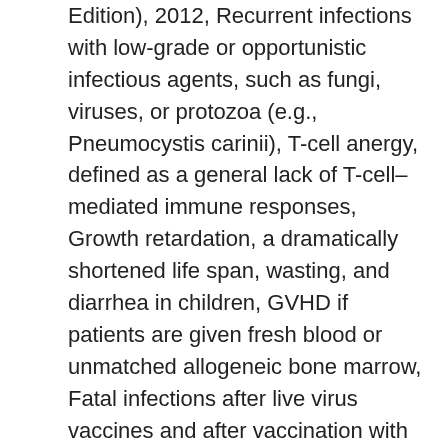Edition), 2012, Recurrent infections with low-grade or opportunistic infectious agents, such as fungi, viruses, or protozoa (e.g., Pneumocystis carinii), T-cell anergy, defined as a general lack of T-cell–mediated immune responses, Growth retardation, a dramatically shortened life span, wasting, and diarrhea in children, GVHD if patients are given fresh blood or unmatched allogeneic bone marrow, Fatal infections after live virus vaccines and after vaccination with other attenuated microorganisms including bacille Calmette-Guérin (BCG). Definition of recurrent lower urinary tract infection: The symptoms of a lower urinary tract infection include: frequency, dysuria, urgency and suprapubic pain. The bad taste is probably 'catarrh', which when infected can taste bad – infected catarrh is a sign of respiratory infection and is part of the body's attempt to rid itself of the infection. Efficacy of five years of continuous,